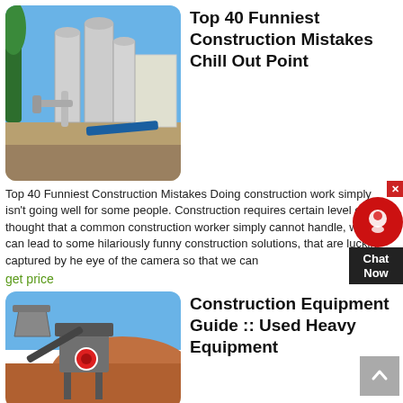[Figure (photo): Industrial construction/mining facility with large cylindrical silos, pipes, and conveyor systems under blue sky]
Top 40 Funniest Construction Mistakes Chill Out Point
Top 40 Funniest Construction Mistakes Doing construction work simply isn't going well for some people. Construction requires certain level of pre-thought that a common construction worker simply cannot handle, which can lead to some hilariously funny construction solutions, that are luckily captured by he eye of the camera so that we can
get price
[Figure (photo): Construction/mining crusher equipment on a job site with blue sky and gravel mounds]
Construction Equipment Guide :: Used Heavy Equipment